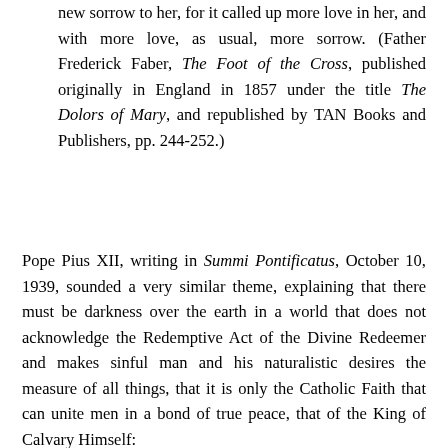new sorrow to her, for it called up more love in her, and with more love, as usual, more sorrow. (Father Frederick Faber, The Foot of the Cross, published originally in England in 1857 under the title The Dolors of Mary, and republished by TAN Books and Publishers, pp. 244-252.)
Pope Pius XII, writing in Summi Pontificatus, October 10, 1939, sounded a very similar theme, explaining that there must be darkness over the earth in a world that does not acknowledge the Redemptive Act of the Divine Redeemer and makes sinful man and his naturalistic desires the measure of all things, that it is only the Catholic Faith that can unite men in a bond of true peace, that of the King of Calvary Himself: